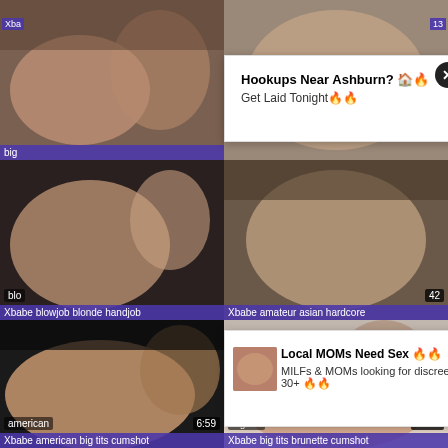[Figure (screenshot): Video thumbnail grid showing adult content videos with two ad overlays. Row 1: two thumbnails with overlay ads. Row 2: blowjob/blonde and amateur asian videos with labels. Row 3: american big tits cumshot (6:59) and big tits brunette cumshot (18:29) thumbnails.]
Hookups Near Ashburn? 🏠🔥
Get Laid Tonight🔥🔥
Local MOMs Need Sex 🔥🔥
MILFs & MOMs looking for discreet Sex 30+ 🔥🔥
Xbabe blowjob blonde handjob
Xbabe amateur asian hardcore
american
6:59
Xbabe american big tits cumshot
big tits
18:29
Xbabe big tits brunette cumshot